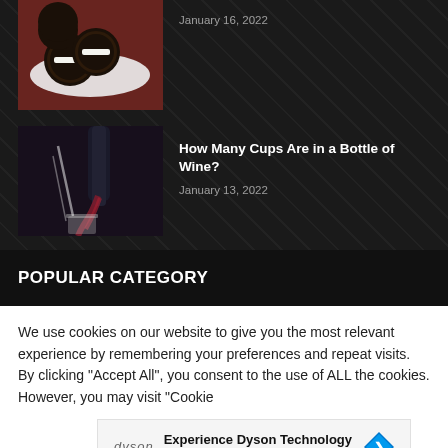[Figure (photo): Oreo cookies on a plate with red background]
January 16, 2022
How Many Cups Are in a Bottle of Wine?
[Figure (photo): Red wine being poured into a glass, dark background]
January 13, 2022
POPULAR CATEGORY
We use cookies on our website to give you the most relevant experience by remembering your preferences and repeat visits. By clicking "Accept All", you consent to the use of ALL the cookies. However, you may visit "Cookie
[Figure (screenshot): Dyson advertisement: Experience Dyson Technology - Dyson Demo Store]